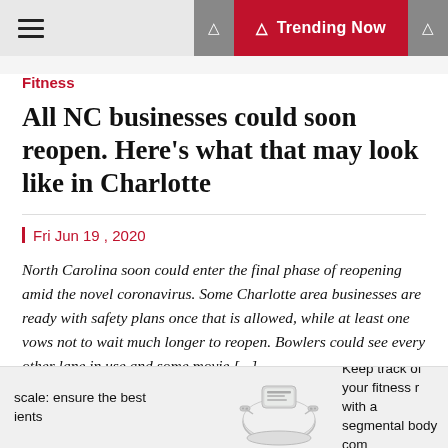Trending Now
Fitness
All NC businesses could soon reopen. Here's what that may look like in Charlotte
Fri Jun 19 , 2020
North Carolina soon could enter the final phase of reopening amid the novel coronavirus. Some Charlotte area businesses are ready with safety plans once that is allowed, while at least one vows not to wait much longer to reopen. Bowlers could see every other lane in use and some movie [...]
scale: ensure the best ents
[Figure (photo): Body fat measurement scale device]
Keep track of your fitness r with a segmental body com